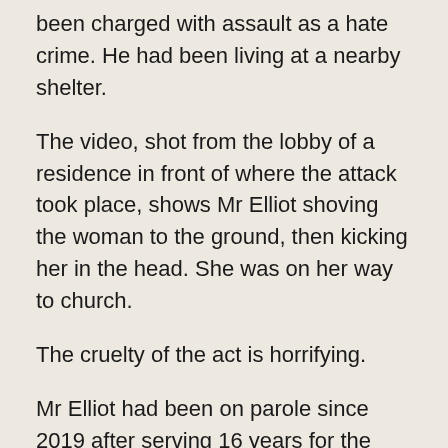been charged with assault as a hate crime. He had been living at a nearby shelter.
The video, shot from the lobby of a residence in front of where the attack took place, shows Mr Elliot shoving the woman to the ground, then kicking her in the head. She was on her way to church.
The cruelty of the act is horrifying.
Mr Elliot had been on parole since 2019 after serving 16 years for the murder of his mother in 2002 when he was 19 years old.